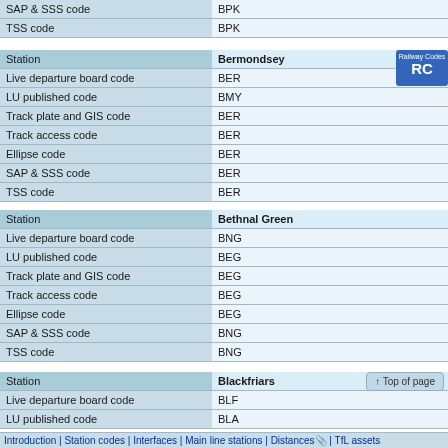| Field | Value |
| --- | --- |
| SAP & SSS code | BPK |
| TSS code | BPK |
| Field | Value |
| --- | --- |
| Station | Bermondsey |
| Live departure board code | BER |
| LU published code | BMY |
| Track plate and GIS code | BER |
| Track access code | BER |
| Ellipse code | BER |
| SAP & SSS code | BER |
| TSS code | BER |
| Field | Value |
| --- | --- |
| Station | Bethnal Green |
| Live departure board code | BNG |
| LU published code | BEG |
| Track plate and GIS code | BEG |
| Track access code | BEG |
| Ellipse code | BEG |
| SAP & SSS code | BNG |
| TSS code | BNG |
| Field | Value |
| --- | --- |
| Station | Blackfriars |
| Live departure board code | BLF |
| LU published code | BLA |
Introduction | Station codes | Interfaces | Main line stations | Distances | TfL assets